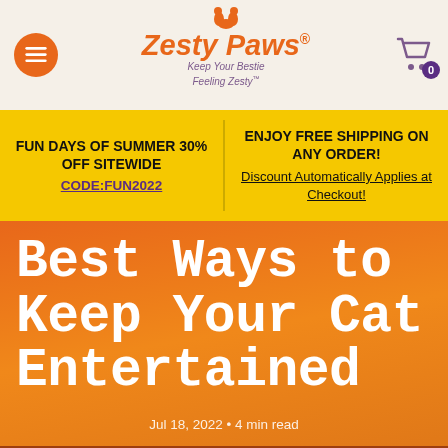Zesty Paws – Keep Your Bestie Feeling Zesty
FUN DAYS OF SUMMER 30% OFF SITEWIDE
CODE:FUN2022
ENJOY FREE SHIPPING ON ANY ORDER!
Discount Automatically Applies at Checkout!
Best Ways to Keep Your Cat Entertained
Jul 18, 2022 • 4 min read
Shop | Cart | Account | Search